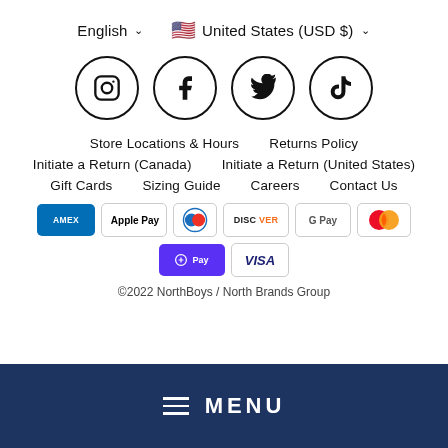English ▾   🇺🇸 United States (USD $) ▾
[Figure (illustration): Four social media icons in circles: Instagram, Facebook, Twitter, TikTok]
Store Locations & Hours
Returns Policy
Initiate a Return (Canada)
Initiate a Return (United States)
Gift Cards
Sizing Guide
Careers
Contact Us
[Figure (illustration): Payment method badges: AMEX, Apple Pay, Diners Club, Discover, Google Pay, Mastercard, Shop Pay, VISA]
© 2022 NorthBoys / North Brands Group
≡  MENU